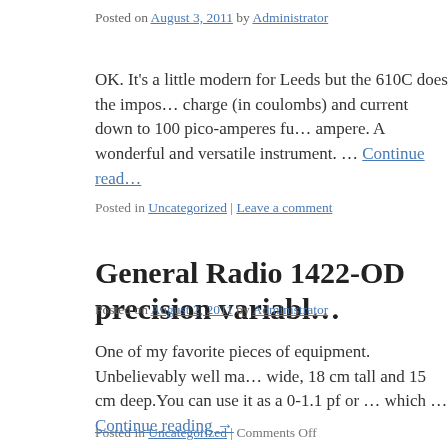Posted on August 3, 2011 by Administrator
OK. It's a little modern for Leeds but the 610C does the impos… charge (in coulombs) and current down to 100 pico-amperes fu… ampere. A wonderful and versatile instrument. … Continue read…
Posted in Uncategorized | Leave a comment
General Radio 1422-OD precision variabl…
Posted on August 2, 2011 by Administrator
One of my favorite pieces of equipment. Unbelievably well ma… wide, 18 cm tall and 15 cm deep.You can use it as a 0-1.1 pf or … which … Continue reading →
Posted in Uncategorized | Comments Off
Aerovox transmitting mica capacitor
Posted on August 2, 2011 by Administrator